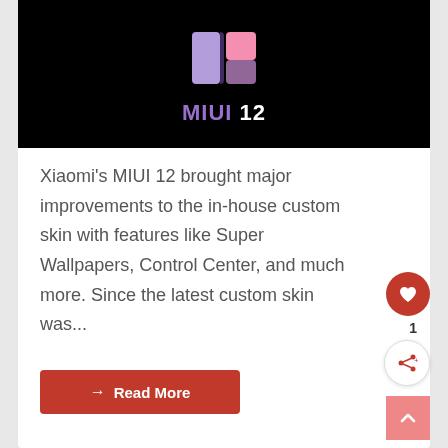[Figure (logo): MIUI 12 logo on black background with purple and pink gradient icon and purple/white MIUI 12 text]
Xiaomi's MIUI 12 brought major improvements to the in-house custom skin with features like Super Wallpapers, Control Center, and much more. Since the latest custom skin was...
→ Read More